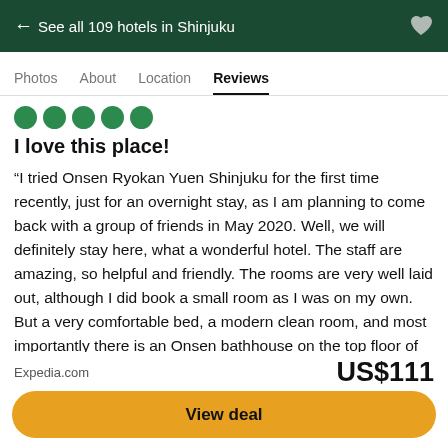← See all 109 hotels in Shinjuku
Photos  About  Location  Reviews
[Figure (other): Five green filled circles representing a 5-star rating]
I love this place!
“I tried Onsen Ryokan Yuen Shinjuku for the first time recently, just for an overnight stay, as I am planning to come back with a group of friends in May 2020. Well, we will definitely stay here, what a wonderful hotel. The staff are amazing, so helpful and friendly. The rooms are very well laid out, although I did book a small room as I was on my own. But a very comfortable bed, a modern clean room, and most importantly there is an Onsen bathhouse on the top floor of the building, which even includes an outdoor bath area. Be aware that Tattoos are only allowed in the public bath area if you can cover them
Expedia.com  US$111  View deal